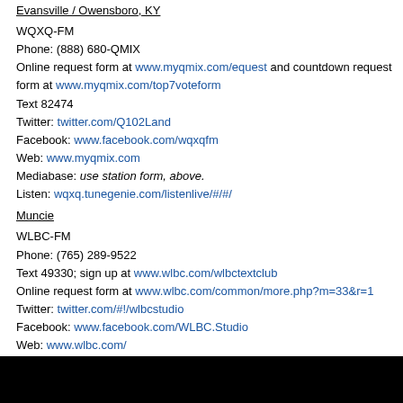Evansville / Owensboro, KY
WQXQ-FM
Phone: (888) 680-QMIX
Online request form at www.myqmix.com/equest and countdown request form at www.myqmix.com/top7voteform
Text 82474
Twitter: twitter.com/Q102Land
Facebook: www.facebook.com/wqxqfm
Web: www.myqmix.com
Mediabase: use station form, above.
Listen: wqxq.tunegenie.com/listenlive/#/#/
Muncie
WLBC-FM
Phone: (765) 289-9522
Text 49330; sign up at www.wlbc.com/wlbctextclub
Online request form at www.wlbc.com/common/more.php?m=33&r=1
Twitter: twitter.com/#!/wlbcstudio
Facebook: www.facebook.com/WLBC.Studio
Web: www.wlbc.com/
Mediabase: use station form, above.
Listen: player.streamtheworld.com/liveplayer.php?callsign=WLBCFM
KANSAS